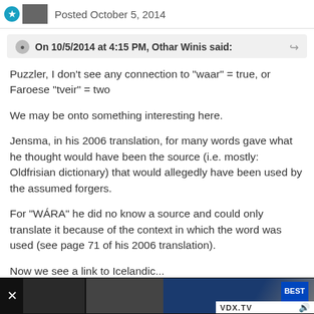Posted October 5, 2014
On 10/5/2014 at 4:15 PM, Othar Winis said:
Puzzler, I don't see any connection to "waar" = true, or Faroese "tveir" = two

We may be onto something interesting here.

Jensma, in his 2006 translation, for many words gave what he thought would have been the source (i.e. mostly: Oldfrisian dictionary) that would allegedly have been used by the assumed forgers.

For "WÁRA" he did no know a source and could only translate it because of the context in which the word was used (see page 71 of his 2006 translation).

Now we see a link to Icelandic...

Will think more about this.
[Figure (screenshot): Best Buy advertisement banner at bottom of page with VDX.TV label and volume icon]